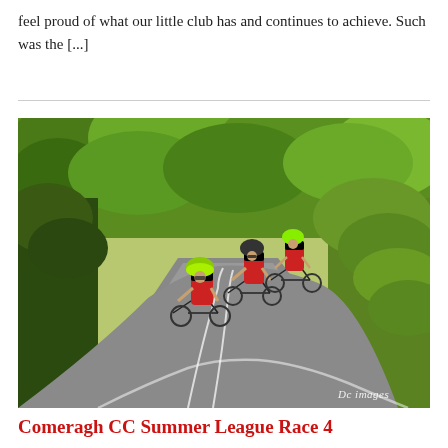feel proud of what our little club has and continues to achieve. Such was the [...]
[Figure (photo): Cyclists in red, black and yellow jerseys riding in a group along a road surrounded by green trees and grass, with 'Dc images' watermark in bottom right.]
Comeragh CC Summer League Race 4